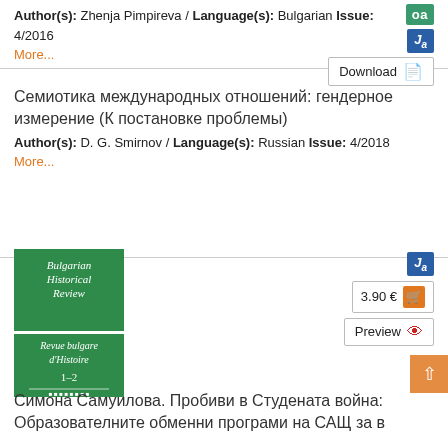Author(s): Zhenja Pimpireva / Language(s): Bulgarian Issue: 4/2016
More...
Семиотика международных отношений: гендерное измерение (К постановке проблемы)
Author(s): D. G. Smirnov / Language(s): Russian Issue: 4/2018
More...
[Figure (illustration): Green book cover: Bulgarian Historical Review / Revue bulgare d'Histoire, issue 1-2]
Симона Самуилова. Пробиви в Студената война: Образователните обменни програми на САЩ за в